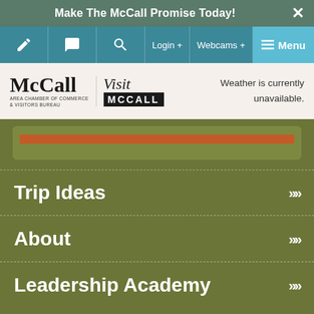Make The McCall Promise Today!
[Figure (screenshot): Navigation bar with pencil, chat bubble, search icons, Login+, Webcams+, and Menu buttons on teal background]
[Figure (logo): McCall Area Chamber of Commerce & Visitors Bureau logo and Visit McCall logo side by side, with weather unavailable text]
[Figure (screenshot): Partial content area with orange/rust colored bar on olive green background]
Trip Ideas
About
Leadership Academy